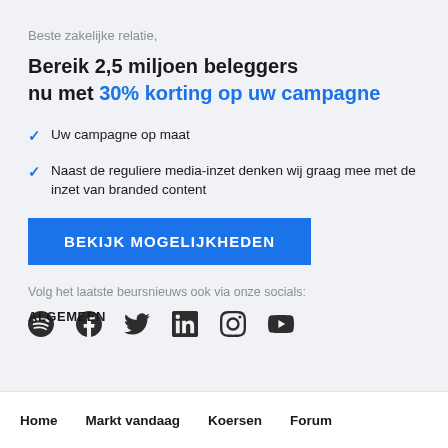Beste zakelijke relatie,
Bereik 2,5 miljoen beleggers nu met 30% korting op uw campagne
Uw campagne op maat
Naast de reguliere media-inzet denken wij graag mee met de inzet van branded content
[Figure (other): Blue CTA button with text BEKIJK MOGELIJKHEDEN]
Volg het laatste beursnieuws ook via onze socials:
[Figure (other): Social media icons: Spotify, Facebook, Twitter, LinkedIn, Instagram, YouTube]
ALGEMEEN
Home    Markt vandaag    Koersen    Forum